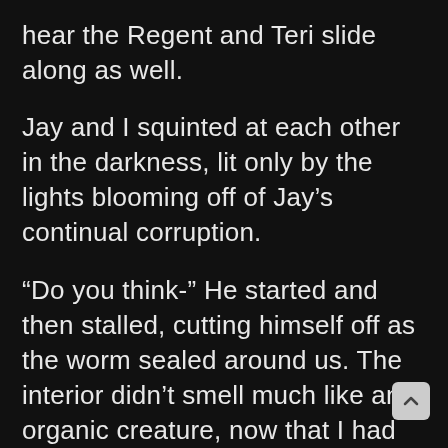hear the Regent and Teri slide along as well.
Jay and I squinted at each other in the darkness, lit only by the lights blooming off of Jay’s continual corruption.
“Do you think-” He started and then stalled, cutting himself off as the worm sealed around us. The interior didn’t smell much like an organic creature, now that I had the time to think about it. It smelled more like dry stone, or the interior of a great canyon. It wasn’t a bad smell, but it was unnerving in the side of a worm. “Do you think that the Morrigan